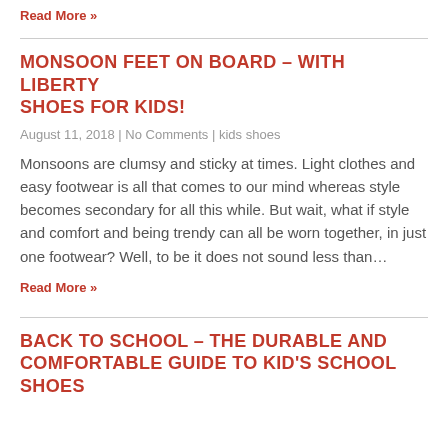Read More »
MONSOON FEET ON BOARD – WITH LIBERTY SHOES FOR KIDS!
August 11, 2018 | No Comments | kids shoes
Monsoons are clumsy and sticky at times. Light clothes and easy footwear is all that comes to our mind whereas style becomes secondary for all this while. But wait, what if style and comfort and being trendy can all be worn together, in just one footwear? Well, to be it does not sound less than…
Read More »
BACK TO SCHOOL – THE DURABLE AND COMFORTABLE GUIDE TO KID'S SCHOOL SHOES